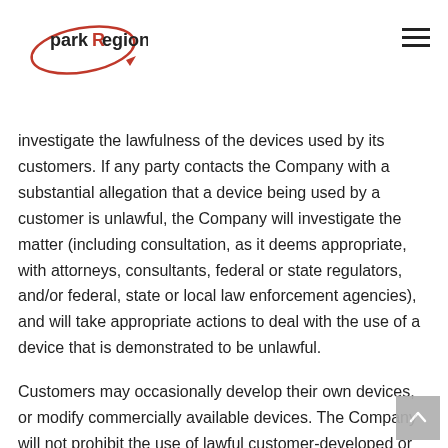parkRegion
and/or capital subscribed (DACS) network. The Company undertakes no obligation to monitor or investigate the lawfulness of the devices used by its customers. If any party contacts the Company with a substantial allegation that a device being used by a customer is unlawful, the Company will investigate the matter (including consultation, as it deems appropriate, with attorneys, consultants, federal or state regulators, and/or federal, state or local law enforcement agencies), and will take appropriate actions to deal with the use of a device that is demonstrated to be unlawful.
Customers may occasionally develop their own devices, or modify commercially available devices. The Company will not prohibit the use of lawful customer-developed or modified devices unless there is a reasonable belief that such devices will cause harm to its network.